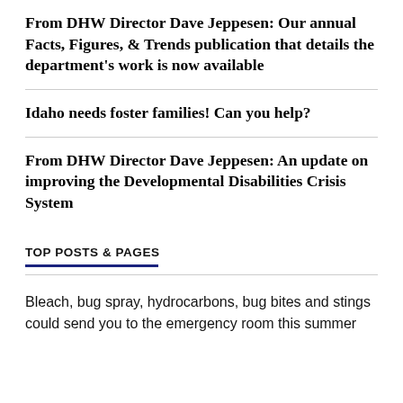From DHW Director Dave Jeppesen: Our annual Facts, Figures, & Trends publication that details the department's work is now available
Idaho needs foster families! Can you help?
From DHW Director Dave Jeppesen: An update on improving the Developmental Disabilities Crisis System
TOP POSTS & PAGES
Bleach, bug spray, hydrocarbons, bug bites and stings could send you to the emergency room this summer